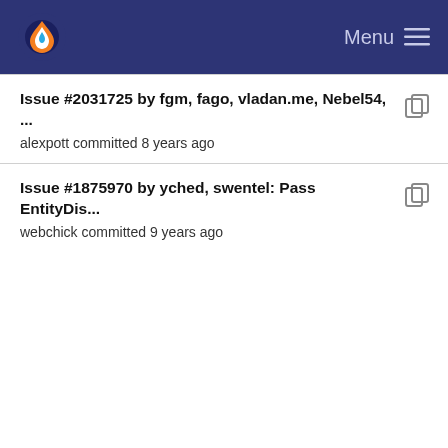Menu
Issue #2031725 by fgm, fago, vladan.me, Nebel54, ...
alexpott committed 8 years ago
Issue #1875970 by yched, swentel: Pass EntityDis...
webchick committed 9 years ago
Issue #1292470 by sun, tim.plunkett, Berdir, mosh...
catch committed 9 years ago
- Patch #491972 by Berdir, webchick: clean-up of ...
Dries committed 13 years ago
- Patch #479966 by Berdir: document and fix hook...
Dries committed 13 years ago
- Patch #607844 by sun: added permission to decr...